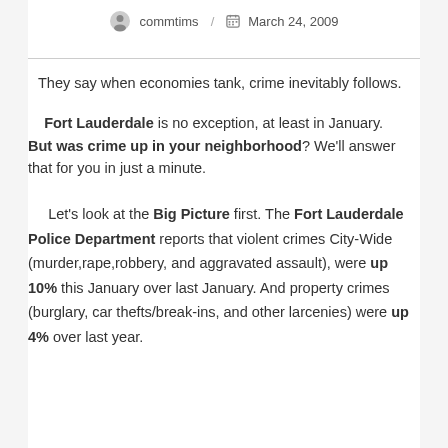commtims / March 24, 2009
They say when economies tank, crime inevitably follows.
Fort Lauderdale is no exception, at least in January. But was crime up in your neighborhood? We'll answer that for you in just a minute.
Let's look at the Big Picture first. The Fort Lauderdale Police Department reports that violent crimes City-Wide (murder,rape,robbery, and aggravated assault), were up 10% this January over last January. And property crimes (burglary, car thefts/break-ins, and other larcenies) were up 4% over last year.